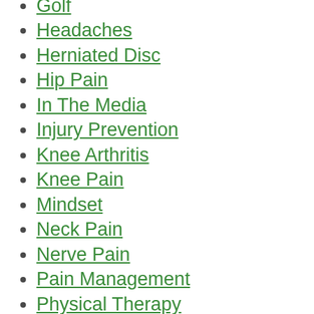Golf
Headaches
Herniated Disc
Hip Pain
In The Media
Injury Prevention
Knee Arthritis
Knee Pain
Mindset
Neck Pain
Nerve Pain
Pain Management
Physical Therapy
Plantar Fasciitis
Qigong
Recipes
Relaxation
Running